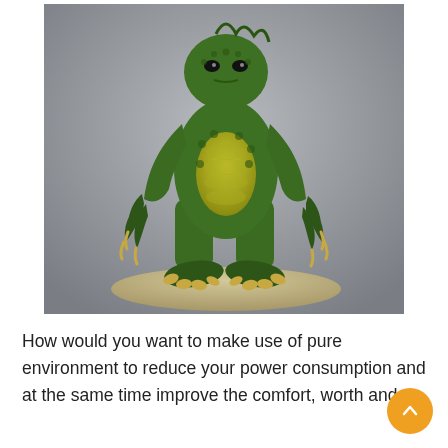[Figure (photo): A green reptilian/lizard-man creature figurine or toy, standing upright on a sandy base. The figure has scaly green skin, a yellowish belly with ab-like ridges, clawed hands and feet, and appears to be a Creature from the Black Lagoon or similar monster collectible. The background is gray.]
How would you want to make use of pure environment to reduce your power consumption and at the same time improve the comfort, worth and fantastic things about your home? Many our...